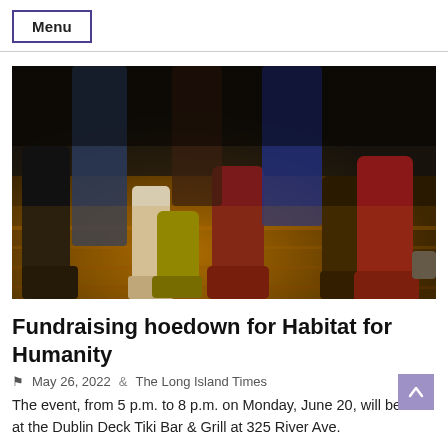Menu
[Figure (photo): Close-up photo of multiple people dancing in cowboy boots and various shoes on a wooden dance floor, lit with warm amber stage lighting.]
Fundraising hoedown for Habitat for Humanity
May 26, 2022   The Long Island Times
The event, from 5 p.m. to 8 p.m. on Monday, June 20, will be held at the Dublin Deck Tiki Bar & Grill at 325 River Ave.